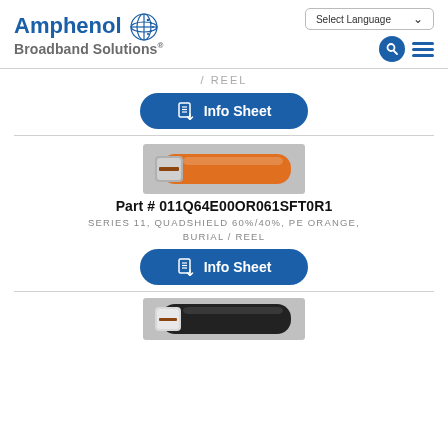[Figure (logo): Amphenol Broadband Solutions logo with globe icon]
/ REEL
[Figure (other): Info Sheet button (blue rounded rectangle with download icon)]
[Figure (photo): Photo of coaxial cable cross-section with orange PE jacket and silver shielding]
Part # 011Q64E00OR061SFT0R1
SERIES 11, QUADSHIELD 60%/40%, PE ORANGE, BURIAL / REEL
[Figure (other): Info Sheet button (blue rounded rectangle with download icon)]
[Figure (photo): Photo of coaxial cable cross-section with black jacket (partially visible at bottom)]